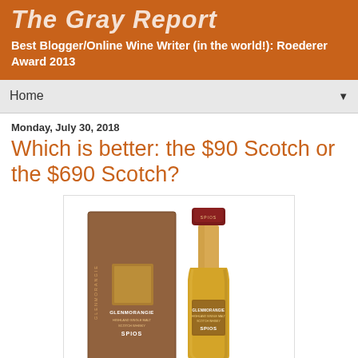The Gray Report
Best Blogger/Online Wine Writer (in the world!): Roederer Award 2013
Home
Monday, July 30, 2018
Which is better: the $90 Scotch or the $690 Scotch?
[Figure (photo): Photo of a Glenmorangie Highland Single Malt Scotch Whisky bottle (Spios) with its brown box packaging]